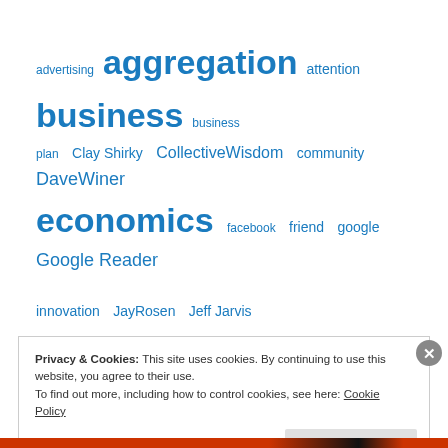[Figure (infographic): Tag cloud with words in various sizes in blue: advertising, aggregation, attention, business, business plan, Clay Shirky, CollectiveWisdom, community, DaveWiner, economics, facebook, friend, google, Google Reader, innovation, JayRosen, Jeff Jarvis, networked news, news, newsfeed, politics, rss, scarcity, semanticweb, social graph, socialnetworking, tagging, trust, twitter, web2.0]
Privacy & Cookies: This site uses cookies. By continuing to use this website, you agree to their use. To find out more, including how to control cookies, see here: Cookie Policy
Close and accept